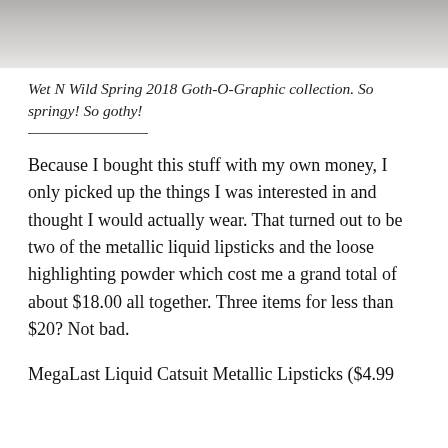[Figure (photo): Top portion of a photo showing a metallic/grey surface, partially cropped]
Wet N Wild Spring 2018 Goth-O-Graphic collection. So springy! So gothy!
Because I bought this stuff with my own money, I only picked up the things I was interested in and thought I would actually wear. That turned out to be two of the metallic liquid lipsticks and the loose highlighting powder which cost me a grand total of about $18.00 all together. Three items for less than $20? Not bad.
MegaLast Liquid Catsuit Metallic Lipsticks ($4.99